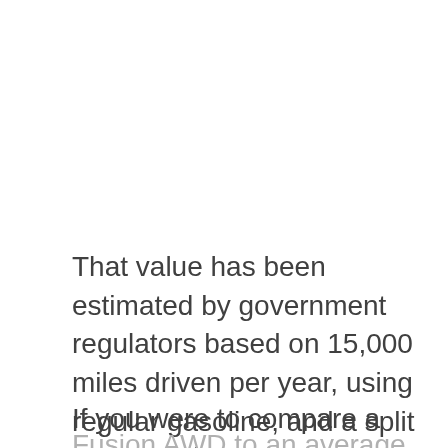That value has been estimated by government regulators based on 15,000 miles driven per year, using regular gasoline, and a split of 55% city driving and 45% highway driving.
If you were to compare a 2009 Ford Fusion AWD to an average vehicle over 5 years, you will spend $4,250 more on